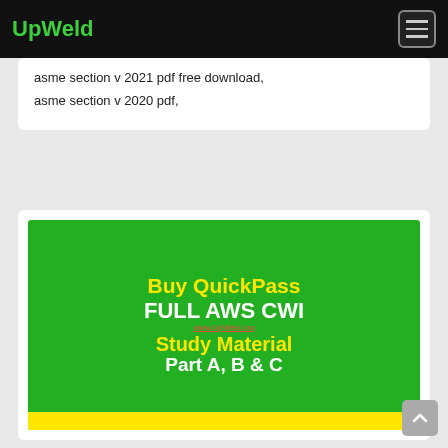UpWeld
asme section v 2021 pdf free download,
asme section v 2020 pdf,
[Figure (infographic): Green promotional banner reading 'Buy QuickPass FULL AWS CWI Study Material Part A, B & C' with yellow and white text, www.UpWeld.org URL, on a green background with yellow bottom bar.]